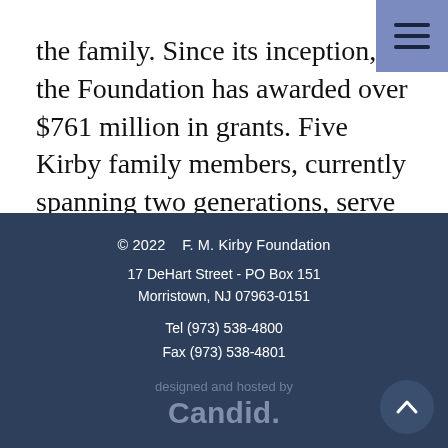the family. Since its inception, the Foundation has awarded over $761 million in grants. Five Kirby family members, currently spanning two generations, serve on the Board, representing the fourth and fifth generations of the family to be involved, as well as two nonfamily directors.
© 2022    F. M. Kirby Foundation
17 DeHart Street - PO Box 151
Morristown, NJ 07963-0151
Tel (973) 538-4800
Fax (973) 538-4801
designed and hosted by
Candid.